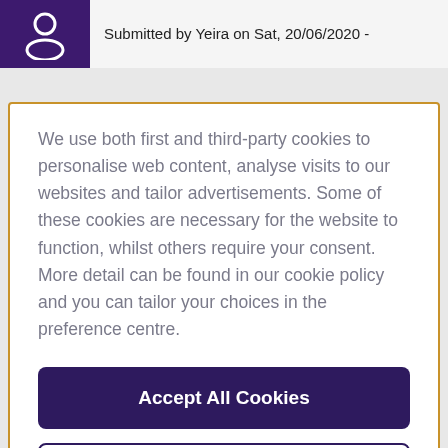Submitted by Yeira on Sat, 20/06/2020 -
We use both first and third-party cookies to personalise web content, analyse visits to our websites and tailor advertisements. Some of these cookies are necessary for the website to function, whilst others require your consent. More detail can be found in our cookie policy and you can tailor your choices in the preference centre.
Accept All Cookies
Cookies Settings